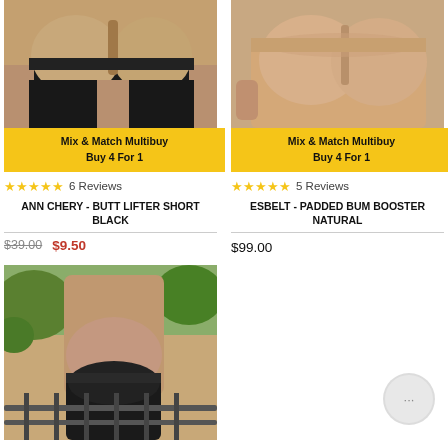[Figure (photo): Product photo of Ann Chery Butt Lifter Short in black, back view showing buttocks in black shapewear]
[Figure (photo): Product photo of Esbelt Padded Bum Booster in natural/nude color, back view]
Mix & Match Multibuy
Buy 4 For 1
Mix & Match Multibuy
Buy 4 For 1
★★★★★ 6 Reviews
★★★★★ 5 Reviews
ANN CHERY - BUTT LIFTER SHORT BLACK
ESBELT - PADDED BUM BOOSTER NATURAL
$39.00  $9.50
$99.00
[Figure (photo): Product photo of a black padded shapewear brief/short, back view on model outdoors]
[Figure (other): Chat button - circular grey button with ellipsis (…) icon]